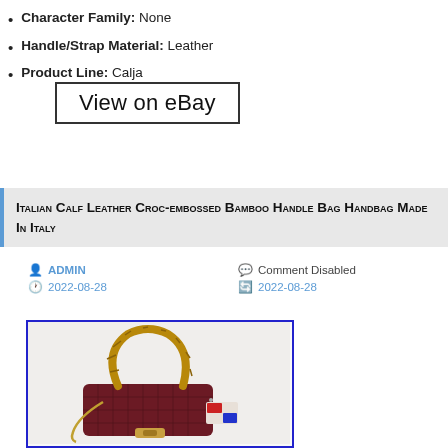Character Family: None
Handle/Strap Material: Leather
Product Line: Calja
View on eBay
Italian Calf Leather Croc-embossed Bamboo Handle Bag Handbag Made In Italy
ADMIN
2022-08-28
Comment Disabled
2022-08-28
[Figure (photo): A dark red/maroon croc-embossed leather handbag with a bamboo handle, shown against a white background, with a tag visible. Blue border around the image.]